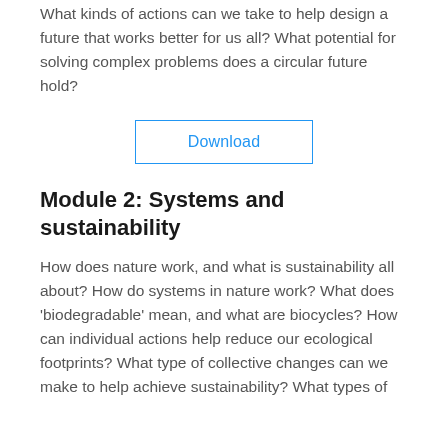What kinds of actions can we take to help design a future that works better for us all? What potential for solving complex problems does a circular future hold?
[Figure (other): A rectangular button with blue border and blue text reading 'Download']
Module 2: Systems and sustainability
How does nature work, and what is sustainability all about? How do systems in nature work? What does 'biodegradable' mean, and what are biocycles? How can individual actions help reduce our ecological footprints? What type of collective changes can we make to help achieve sustainability? What types of